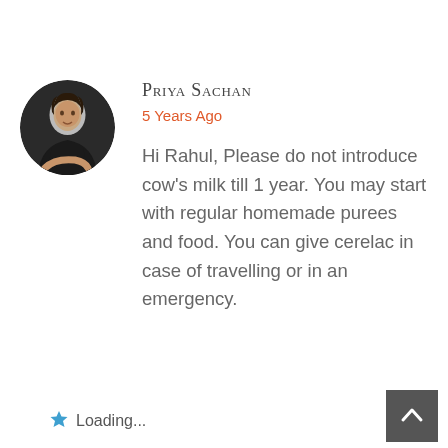[Figure (photo): Circular avatar photo of Priya Sachan, a woman smiling, dark background]
Priya Sachan
5 Years Ago
Hi Rahul, Please do not introduce cow's milk till 1 year. You may start with regular homemade purees and food. You can give cerelac in case of travelling or in an emergency.
★  Loading...